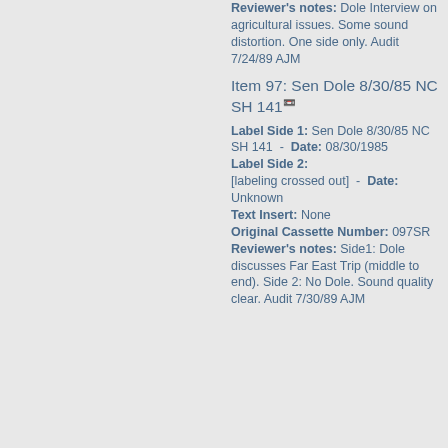Reviewer's notes: Dole Interview on agricultural issues. Some sound distortion. One side only. Audit 7/24/89 AJM
Item 97: Sen Dole 8/30/85 NC SH 141
Label Side 1: Sen Dole 8/30/85 NC SH 141  -  Date: 08/30/1985 Label Side 2: [labeling crossed out]  -  Date: Unknown Text Insert: None Original Cassette Number: 097SR Reviewer's notes: Side1: Dole discusses Far East Trip (middle to end). Side 2: No Dole. Sound quality clear. Audit 7/30/89 AJM